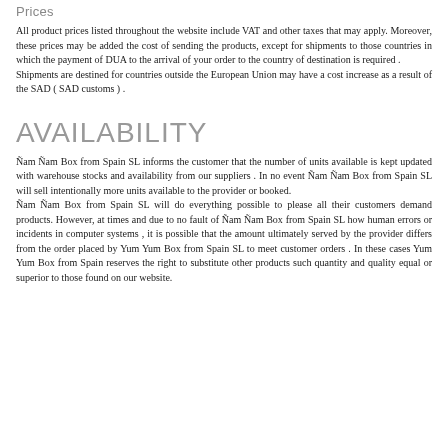Prices
All product prices listed throughout the website include VAT and other taxes that may apply. Moreover, these prices may be added the cost of sending the products, except for shipments to those countries in which the payment of DUA to the arrival of your order to the country of destination is required . Shipments are destined for countries outside the European Union may have a cost increase as a result of the SAD ( SAD customs ) .
AVAILABILITY
Ñam Ñam Box from Spain SL informs the customer that the number of units available is kept updated with warehouse stocks and availability from our suppliers . In no event Ñam Ñam Box from Spain SL will sell intentionally more units available to the provider or booked. Ñam Ñam Box from Spain SL will do everything possible to please all their customers demand products. However, at times and due to no fault of Ñam Ñam Box from Spain SL how human errors or incidents in computer systems , it is possible that the amount ultimately served by the provider differs from the order placed by Yum Yum Box from Spain SL to meet customer orders . In these cases Yum Yum Box from Spain reserves the right to substitute other products such quantity and quality equal or superior to those found on our website.